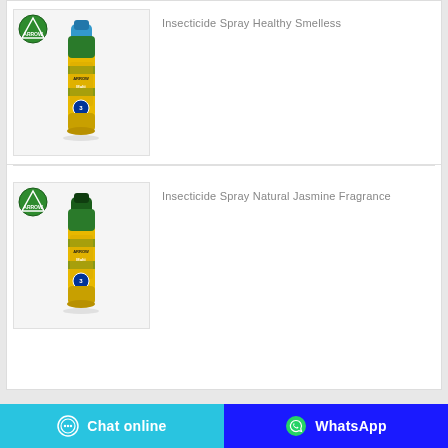[Figure (photo): Arrow brand insecticide spray can with blue top, yellow and green label, sitting in a product listing card]
Insecticide Spray Healthy Smelless
[Figure (photo): Arrow brand insecticide spray can with dark green top, yellow and green label, sitting in a product listing card]
Insecticide Spray Natural Jasmine Fragrance
Chat online | WhatsApp